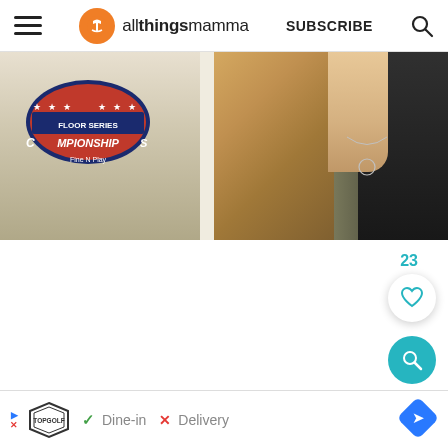allthingsmamma — SUBSCRIBE
[Figure (photo): Photo showing a person wearing a white t-shirt with a championships logo on the left, and a woman with long blonde hair wearing a necklace on the right]
23
[Figure (other): Like/heart button (white circle with teal heart icon) and teal search button]
[Figure (other): Ad bar: Topgolf ad showing Dine-in check mark and Delivery X mark, with navigation arrow diamond]